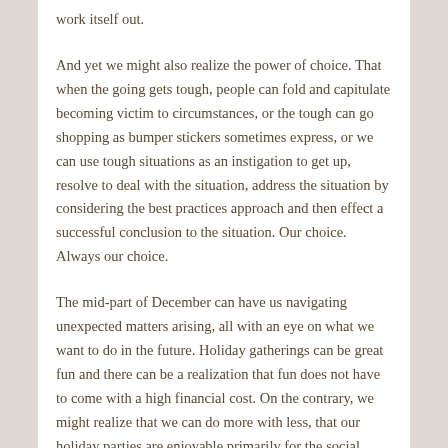work itself out.
And yet we might also realize the power of choice. That when the going gets tough, people can fold and capitulate becoming victim to circumstances, or the tough can go shopping as bumper stickers sometimes express, or we can use tough situations as an instigation to get up, resolve to deal with the situation, address the situation by considering the best practices approach and then effect a successful conclusion to the situation. Our choice. Always our choice.
The mid-part of December can have us navigating unexpected matters arising, all with an eye on what we want to do in the future. Holiday gatherings can be great fun and there can be a realization that fun does not have to come with a high financial cost. On the contrary, we might realize that we can do more with less, that our holiday parties are enjoyable primarily for the social